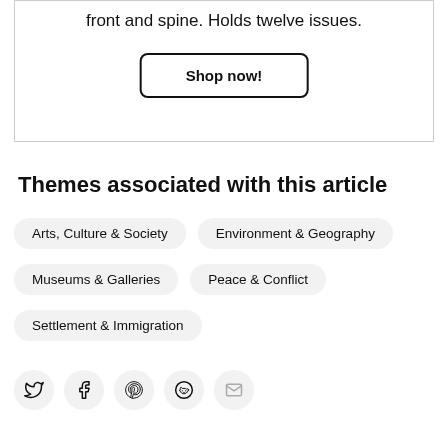front and spine. Holds twelve issues.
Shop now!
Themes associated with this article
Arts, Culture & Society
Environment & Geography
Museums & Galleries
Peace & Conflict
Settlement & Immigration
[Figure (other): Social media share icons: Twitter, Facebook, Pinterest, Reddit, Email]